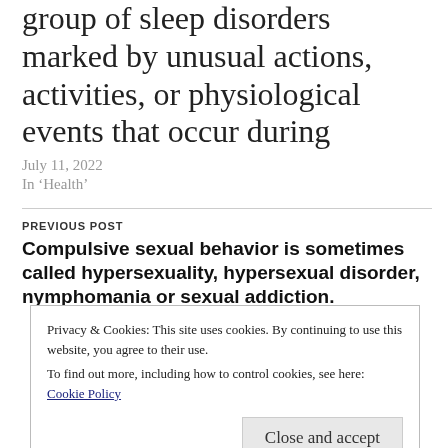group of sleep disorders marked by unusual actions, activities, or physiological events that occur during
July 11, 2022
In 'Health'
PREVIOUS POST
Compulsive sexual behavior is sometimes called hypersexuality, hypersexual disorder, nymphomania or sexual addiction.
Privacy & Cookies: This site uses cookies. By continuing to use this website, you agree to their use. To find out more, including how to control cookies, see here: Cookie Policy
Close and accept